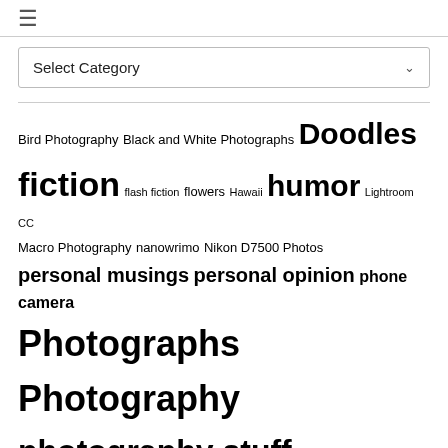[Figure (screenshot): Hamburger menu icon (three horizontal lines)]
[Figure (screenshot): Select Category dropdown box with chevron]
Bird Photography  Black and White Photographs  Doodles  fiction  flash fiction  flowers  Hawaii  humor  Lightroom CC  Macro Photography  nanowrimo  Nikon D7500 Photos  personal musings  personal opinion  phone camera  Photographs  Photography  photography stuff  post-processing  Project 313  Samsung Note II  scenery  short fiction  short stories  short story  Stuff  The Alphabet Challenge  Topaz Impression 2  Travel  WPlongform  Writing  writing challenge  writing stuff